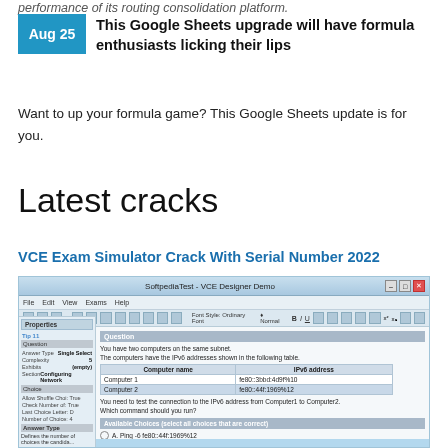performance of its routing consolidation platform.
This Google Sheets upgrade will have formula enthusiasts licking their lips
Want to up your formula game? This Google Sheets update is for you.
Latest cracks
VCE Exam Simulator Crack With Serial Number 2022
[Figure (screenshot): Screenshot of SoftpediaTest VCE Designer Demo application window showing an exam question with IPv6 addresses table and multiple choice answers about ping commands.]